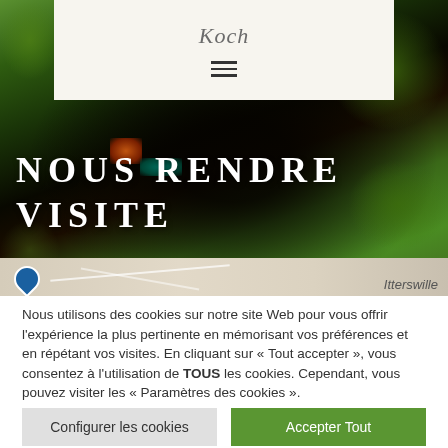Koch (logo)
[Figure (photo): Close-up photograph of a grapevine trunk and branches with green leaves in a vineyard, dark background, with orange/red and teal details on the vine. Partially overlaid with a map strip at the bottom showing 'Itterswille'.]
NOUS RENDRE VISITE
Nous utilisons des cookies sur notre site Web pour vous offrir l'expérience la plus pertinente en mémorisant vos préférences et en répétant vos visites. En cliquant sur « Tout accepter », vous consentez à l'utilisation de TOUS les cookies. Cependant, vous pouvez visiter les « Paramètres des cookies ».
Configurer les cookies
Accepter Tout